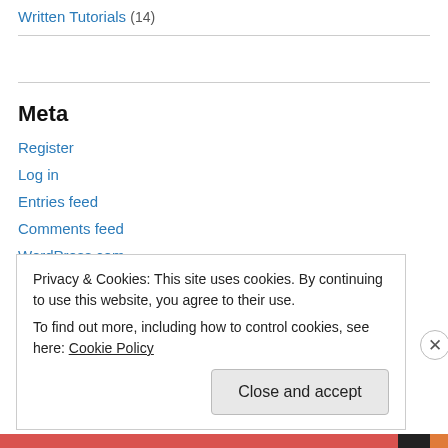Written Tutorials (14)
Meta
Register
Log in
Entries feed
Comments feed
WordPress.com
Privacy & Cookies: This site uses cookies. By continuing to use this website, you agree to their use.
To find out more, including how to control cookies, see here: Cookie Policy
Close and accept